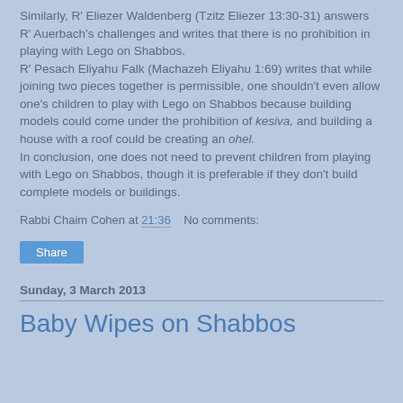Similarly, R' Eliezer Waldenberg (Tzitz Eliezer 13:30-31) answers R' Auerbach's challenges and writes that there is no prohibition in playing with Lego on Shabbos.
R' Pesach Eliyahu Falk (Machazeh Eliyahu 1:69) writes that while joining two pieces together is permissible, one shouldn't even allow one's children to play with Lego on Shabbos because building models could come under the prohibition of kesiva, and building a house with a roof could be creating an ohel.
In conclusion, one does not need to prevent children from playing with Lego on Shabbos, though it is preferable if they don't build complete models or buildings.
Rabbi Chaim Cohen at 21:36    No comments:
Share
Sunday, 3 March 2013
Baby Wipes on Shabbos